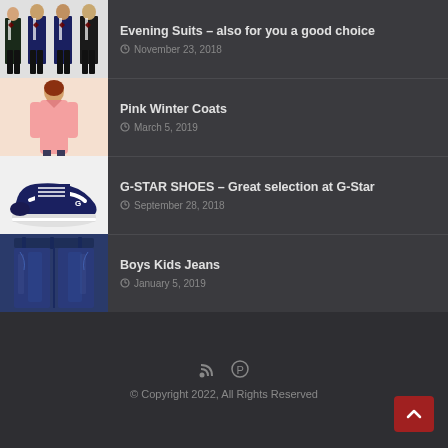[Figure (photo): Thumbnail image of men in evening suits (tuxedos)]
Evening Suits – also for you a good choice
November 23, 2018
[Figure (photo): Thumbnail image of a person in a pink winter coat]
Pink Winter Coats
March 5, 2019
[Figure (photo): Thumbnail image of navy blue G-Star sneaker shoes]
G-STAR SHOES – Great selection at G-Star
September 28, 2018
[Figure (photo): Thumbnail image of boys kids jeans (dark blue denim)]
Boys Kids Jeans
January 5, 2019
© Copyright 2022, All Rights Reserved